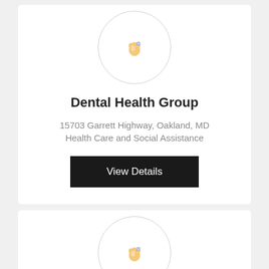[Figure (logo): Circular icon with a tooth/dental logo with decorative elements on white circle with light gray border]
Dental Health Group
15703 Garrett Highway, Oakland, MD
Health Care and Social Assistance
View Details
[Figure (logo): Circular icon with a tooth/dental logo with decorative elements on white circle with light gray border (second card)]
Call Now